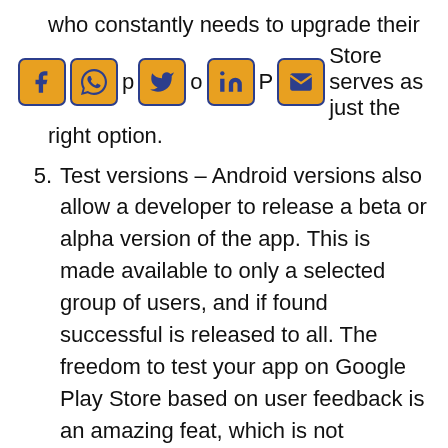who constantly needs to upgrade their app. oP Store serves as just the right option.
Test versions – Android versions also allow a developer to release a beta or alpha version of the app. This is made available to only a selected group of users, and if found successful is released to all. The freedom to test your app on Google Play Store based on user feedback is an amazing feat, which is not available in Apple's App Store. After successful testing and updates, you can roll out the new version of your app to